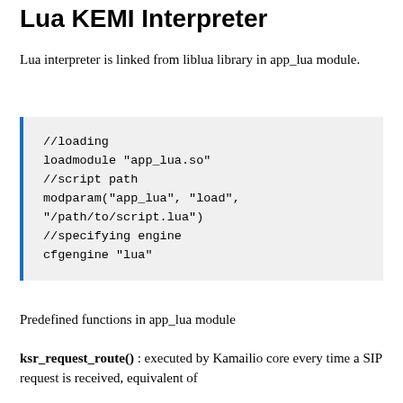Lua KEMI Interpreter
Lua interpreter is linked from liblua library in app_lua module.
Predefined functions in app_lua module
ksr_request_route() : executed by Kamailio core every time a SIP request is received, equivalent of ...